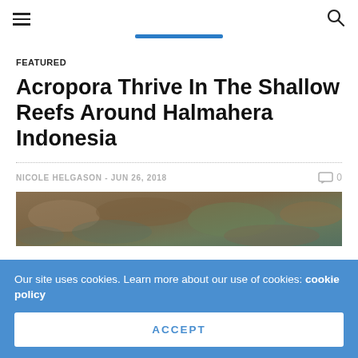FEATURED
Acropora Thrive In The Shallow Reefs Around Halmahera Indonesia
NICOLE HELGASON  -  JUN 26, 2018   0
[Figure (photo): Shallow reef photo showing Acropora coral around Halmahera Indonesia]
Our site uses cookies. Learn more about our use of cookies: cookie policy
ACCEPT